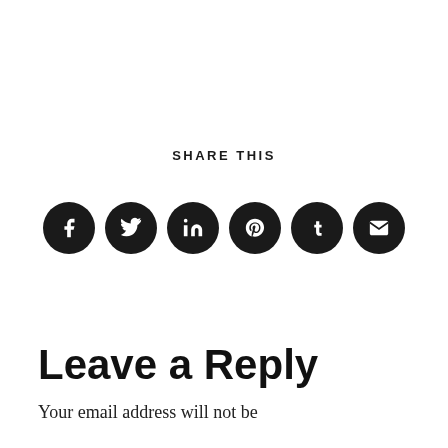SHARE THIS
[Figure (infographic): Six social media share buttons as dark circular icons: Facebook (f), Twitter (bird), LinkedIn (in), Pinterest (p), Tumblr (t), Email (envelope)]
Leave a Reply
Your email address will not be published. Required fields are marked *